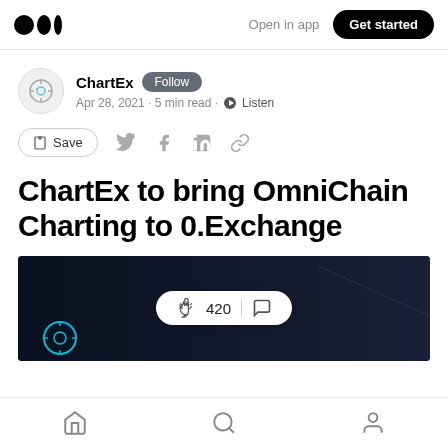Open in app  Get started
ChartEx  Follow
Apr 28, 2021 · 5 min read · Listen
Save  [social icons]
ChartEx to bring OmniChain Charting to 0.Exchange
[Figure (screenshot): Dark themed article header image with clap count of 420 and comment icon overlay on a dark blue/black background with a cyan ChartEx logo visible in bottom left]
[home] [search] [profile]